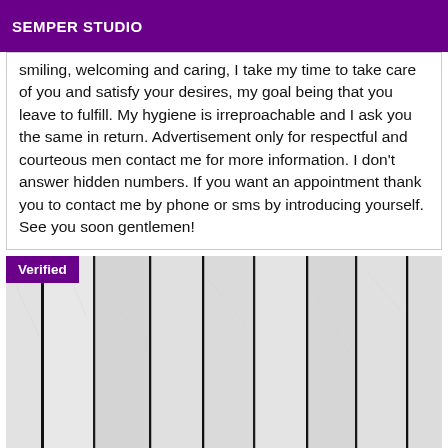SEMPER STUDIO
smiling, welcoming and caring, I take my time to take care of you and satisfy your desires, my goal being that you leave to fulfill. My hygiene is irreproachable and I ask you the same in return. Advertisement only for respectful and courteous men contact me for more information. I don't answer hidden numbers. If you want an appointment thank you to contact me by phone or sms by introducing yourself. See you soon gentlemen!
[Figure (photo): Vertical white painted wooden planks photo with a purple 'Verified' badge in the top-left corner]